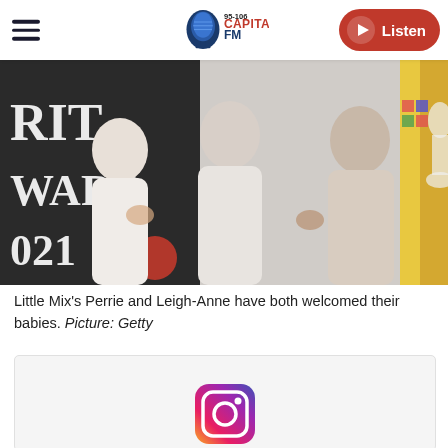Capital FM 95-106 | Listen
[Figure (photo): Three women in white outfits standing in front of a BRIT Awards 2021 backdrop]
Little Mix's Perrie and Leigh-Anne have both welcomed their babies. Picture: Getty
[Figure (screenshot): Social media embed box with Instagram icon at the bottom]